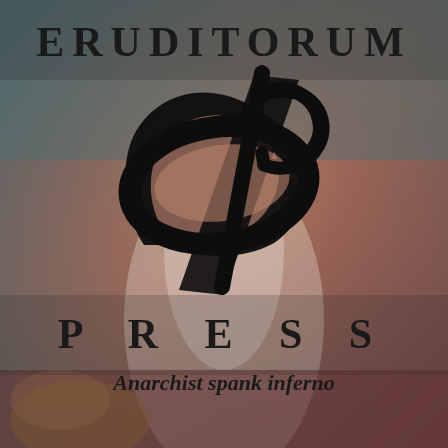[Figure (illustration): Background image showing a figure in a white flowing dress/skirt against a muted reddish-brown and teal gradient background, with floral elements at the bottom left.]
ERUDITORUM
[Figure (logo): Eruditorum Press stylized 'EP' monogram logo in black cursive/calligraphic script.]
PRESS
Anarchist spank inferno